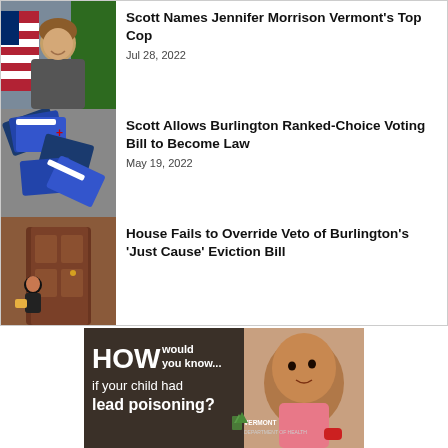Scott Names Jennifer Morrison Vermont's Top Cop — Jul 28, 2022
Scott Allows Burlington Ranked-Choice Voting Bill to Become Law — May 19, 2022
House Fails to Override Veto of Burlington's 'Just Cause' Eviction Bill
[Figure (photo): Advertisement: Vermont Department of Health — HOW would you know... if your child had lead poisoning? — with image of toddler]